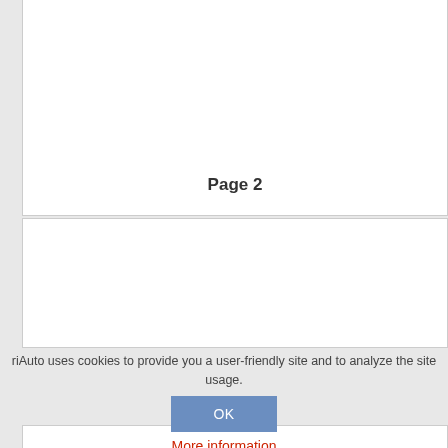Page 2
riAuto uses cookies to provide you a user-friendly site and to analyze the site usage.
OK
More information